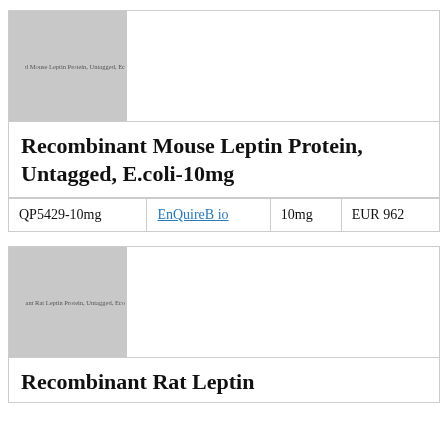[Figure (photo): Product image placeholder for Recombinant Mouse Leptin Protein, Untagged, E.coli-10mg, grey background with small text label]
Recombinant Mouse Leptin Protein, Untagged, E.coli-10mg
| QP5429-10mg | EnQuireBio | 10mg | EUR 962 |
[Figure (photo): Product image placeholder for Recombinant Rat Leptin Protein, Untagged, E.coli, grey background with small text label]
Recombinant Rat Leptin